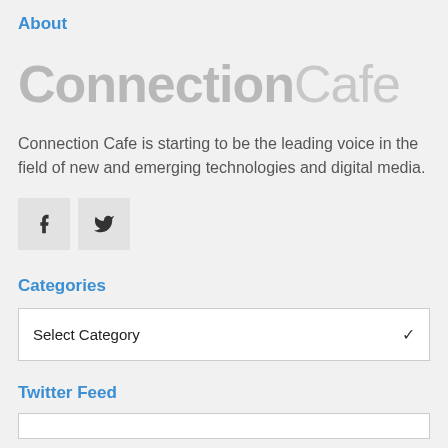About
[Figure (logo): ConnectionCafe logo in large light gray text with bold 'Connection' and light-weight 'Cafe']
Connection Cafe is starting to be the leading voice in the field of new and emerging technologies and digital media.
[Figure (other): Social media icons: Facebook (f) and Twitter (bird) as gray square buttons]
Categories
Select Category
Twitter Feed